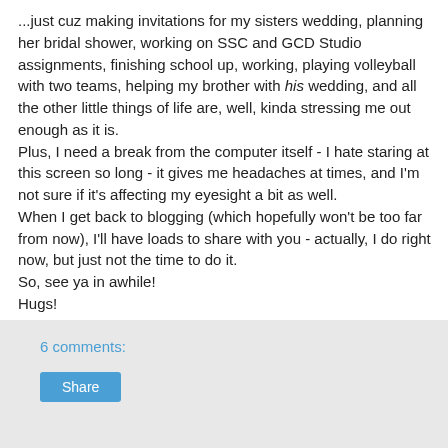...just cuz making invitations for my sisters wedding, planning her bridal shower, working on SSC and GCD Studio assignments, finishing school up, working, playing volleyball with two teams, helping my brother with his wedding, and all the other little things of life are, well, kinda stressing me out enough as it is.
Plus, I need a break from the computer itself - I hate staring at this screen so long - it gives me headaches at times, and I'm not sure if it's affecting my eyesight a bit as well.
When I get back to blogging (which hopefully won't be too far from now), I'll have loads to share with you - actually, I do right now, but just not the time to do it.
So, see ya in awhile!
Hugs!
Clare
6 comments:
Share